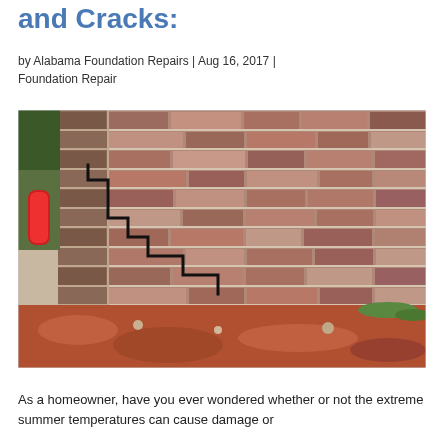and Cracks:
by Alabama Foundation Repairs | Aug 16, 2017 | Foundation Repair
[Figure (photo): Photograph of a brick wall corner showing a prominent stair-step crack running diagonally through the mortar joints, with red clay soil and dirt visible at the base.]
As a homeowner, have you ever wondered whether or not the extreme summer temperatures can cause damage or